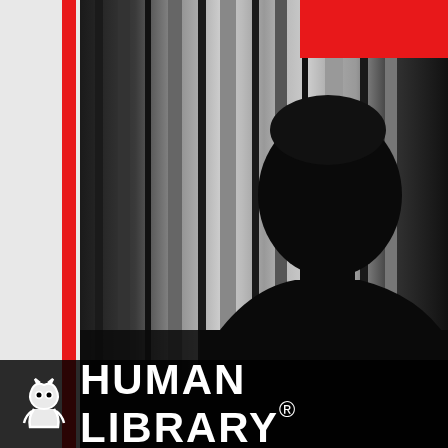[Figure (photo): Black and white silhouette photograph of a man in a suit looking toward a window with vertical curtains or blinds. The figure is strongly backlit, showing only a dark profile against lighter background. A red vertical stripe runs along the left side of the image, and a red rectangle appears in the top-right corner.]
HUMAN LIBRARY®